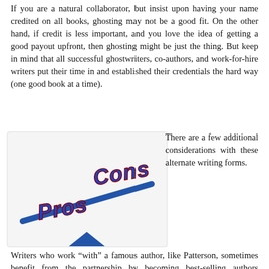If you are a natural collaborator, but insist upon having your name credited on all books, ghosting may not be a good fit. On the other hand, if credit is less important, and you love the idea of getting a good payout upfront, then ghosting might be just the thing. But keep in mind that all successful ghostwriters, co-authors, and work-for-hire writers put their time in and established their credentials the hard way (one good book at a time).
[Figure (illustration): A seesaw/balance illustration with 'Pros' on the lower left side and 'Cons' on the upper right side, both in bold blue 3D text with red outline. A blue triangular fulcrum supports the seesaw beam. The cons side is tilted up and pros side is tilted down.]
There are a few additional considerations with these alternate writing forms.
Writers who work “with” a famous author, like Patterson, sometimes benefit from the partnership by becoming best-selling authors themselves. They can also benefit by having access to agents or editors in the publishing profession who might have been otherwise out of reach.